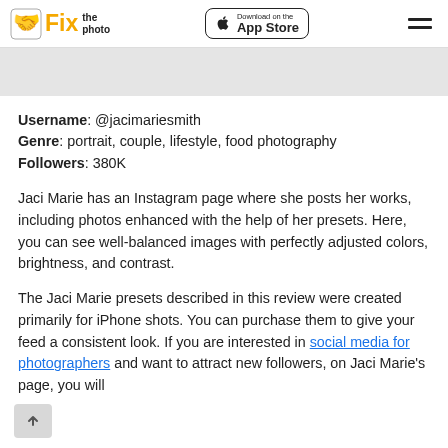Fix the photo | Download on the App Store
[Figure (illustration): Gray banner placeholder image area]
Username: @jacimariesmithGenre: portrait, couple, lifestyle, food photographyFollowers: 380K
Jaci Marie has an Instagram page where she posts her works, including photos enhanced with the help of her presets. Here, you can see well-balanced images with perfectly adjusted colors, brightness, and contrast.
The Jaci Marie presets described in this review were created primarily for iPhone shots. You can purchase them to give your feed a consistent look. If you are interested in social media for photographers and want to attract new followers, on Jaci Marie's page, you will